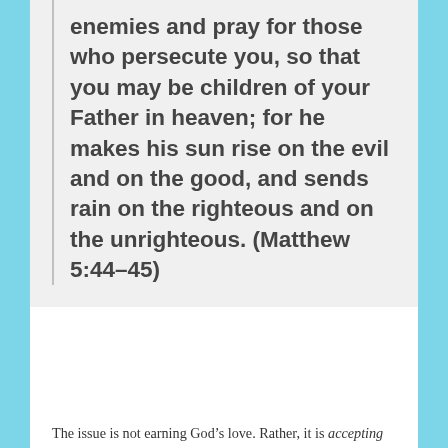enemies and pray for those who persecute you, so that you may be children of your Father in heaven; for he makes his sun rise on the evil and on the good, and sends rain on the righteous and on the unrighteous. (Matthew 5:44–45)
The issue is not earning God's love. Rather, it is accepting God's love instead of rejecting it.
Accepting God's love means loving other people at least as much as we love ourselves, because that's what God's love